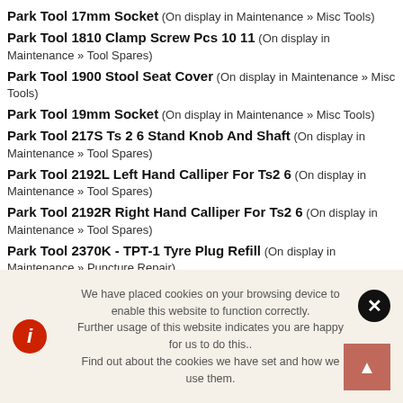Park Tool 17mm Socket (On display in Maintenance » Misc Tools)
Park Tool 1810 Clamp Screw Pcs 10 11 (On display in Maintenance » Tool Spares)
Park Tool 1900 Stool Seat Cover (On display in Maintenance » Misc Tools)
Park Tool 19mm Socket (On display in Maintenance » Misc Tools)
Park Tool 217S Ts 2 6 Stand Knob And Shaft (On display in Maintenance » Tool Spares)
Park Tool 2192L Left Hand Calliper For Ts2 6 (On display in Maintenance » Tool Spares)
Park Tool 2192R Right Hand Calliper For Ts2 6 (On display in Maintenance » Tool Spares)
Park Tool 2370K - TPT-1 Tyre Plug Refill (On display in Maintenance » Puncture Repair)
We have placed cookies on your browsing device to enable this website to function correctly. Further usage of this website indicates you are happy for us to do this.. Find out about the cookies we have set and how we use them.